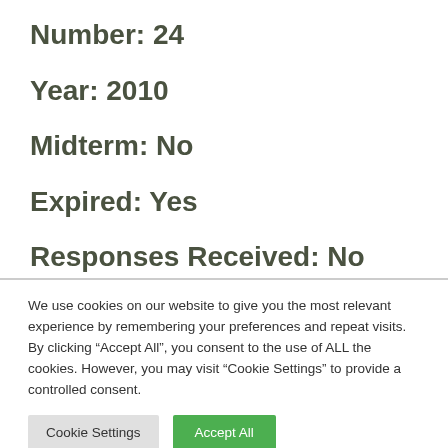Number: 24
Year: 2010
Midterm: No
Expired: Yes
Responses Received: No
We use cookies on our website to give you the most relevant experience by remembering your preferences and repeat visits. By clicking “Accept All”, you consent to the use of ALL the cookies. However, you may visit “Cookie Settings” to provide a controlled consent.